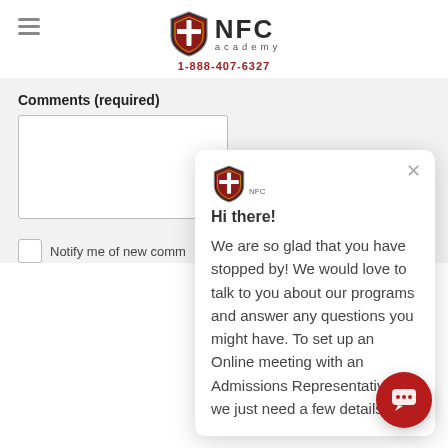NFC Academy 1-888-407-6327
Comments (required)
Notify me of new comm...
Hi there!
We are so glad that you have stopped by! We would love to talk to you about our programs and answer any questions you might have. To set up an Online meeting with an Admissions Representative, we just need a few details.
[Figure (logo): NFC Academy shield logo with cross, red and dark colors, with text 'NFC academy' and phone number 1-888-407-6327]